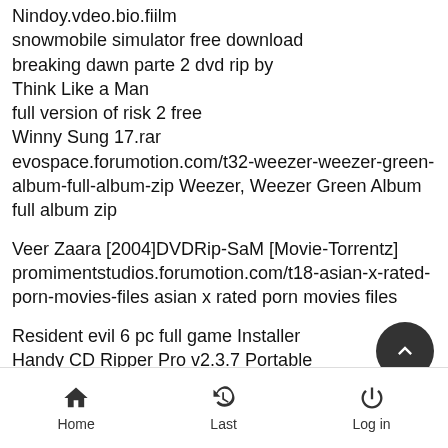Nindoy.vdeo.bio.fiilm
snowmobile simulator free download
breaking dawn parte 2 dvd rip by
Think Like a Man
full version of risk 2 free
Winny Sung 17.rar
evospace.forumotion.com/t32-weezer-weezer-green-album-full-album-zip Weezer, Weezer Green Album full album zip
Veer Zaara [2004]DVDRip-SaM [Movie-Torrentz]
promimentstudios.forumotion.com/t18-asian-x-rated-porn-movies-files asian x rated porn movies files
Resident evil 6 pc full game Installer
Handy CD Ripper Pro v2.3.7 Portable
branphosmyne.enjin.com/forum/viewthread/11623873/pa /m/13232519 40plusmags.com
Home  Last  Log in